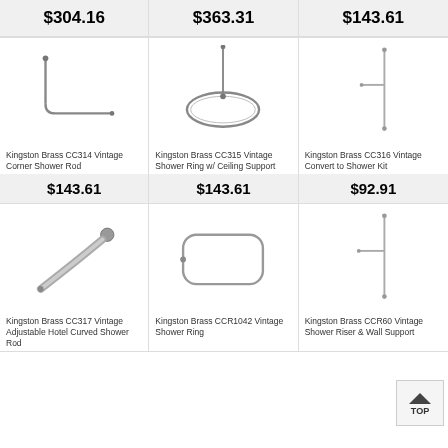$304.16 | $363.31 | $143.61
[Figure (photo): Kingston Brass CC314 Vintage Corner Shower Rod product image]
Kingston Brass CC314 Vintage Corner Shower Rod
$143.61
[Figure (photo): Kingston Brass CC315 Vintage Shower Ring w/ Ceiling Support product image]
Kingston Brass CC315 Vintage Shower Ring w/ Ceiling Support
$143.61
[Figure (photo): Kingston Brass CC316 Vintage Convert to Shower Kit product image]
Kingston Brass CC316 Vintage Convert to Shower Kit
$92.91
[Figure (photo): Kingston Brass CC317 Vintage Adjustable Hotel Curved Shower Rod product image]
Kingston Brass CC317 Vintage Adjustable Hotel Curved Shower Rod
[Figure (photo): Kingston Brass CCR1042 Vintage Shower Ring product image]
Kingston Brass CCR1042 Vintage Shower Ring
[Figure (photo): Kingston Brass CCR60 Vintage Shower Riser & Wall Support product image]
Kingston Brass CCR60 Vintage Shower Riser & Wall Support